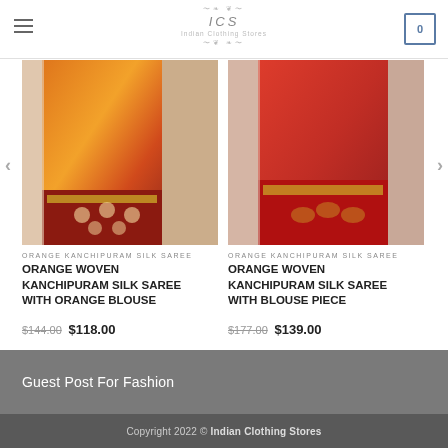ICS Indian Clothing Stores — navigation header with cart showing 0
[Figure (photo): Orange Kanchipuram silk saree draped fabric in orange and red tones with gold border]
ORANGE KANCHIPURAM SILK SAREE
ORANGE WOVEN KANCHIPURAM SILK SAREE WITH ORANGE BLOUSE
$144.00 $118.00
[Figure (photo): Orange Kanchipuram silk saree in red tones with gold embroidery]
ORANGE KANCHIPURAM SILK SAREE
ORANGE WOVEN KANCHIPURAM SILK SAREE WITH BLOUSE PIECE
$177.00 $139.00
Guest Post For Fashion
Copyright 2022 © Indian Clothing Stores